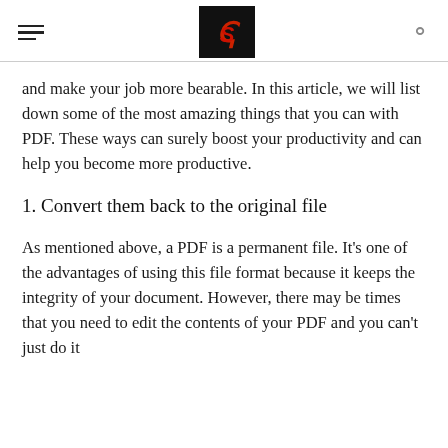[hamburger menu] [logo] [search icon]
and make your job more bearable. In this article, we will list down some of the most amazing things that you can with PDF. These ways can surely boost your productivity and can help you become more productive.
1. Convert them back to the original file
As mentioned above, a PDF is a permanent file. It's one of the advantages of using this file format because it keeps the integrity of your document. However, there may be times that you need to edit the contents of your PDF and you can't just do it